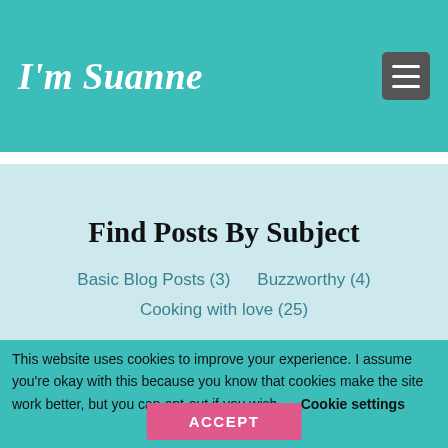I'm Suanne
Find Posts By Subject
Basic Blog Posts (3)
Buzzworthy (4)
Cooking with love (25)
This website uses cookies to improve your experience. I assume you're okay with this because you know that cookies make the site work better, but you can opt-out if you wish.    Cookie settings
ACCEPT